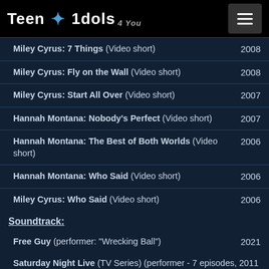Teen Idols 4 You
Miley Cyrus: 7 Things (Video short) 2008
Miley Cyrus: Fly on the Wall (Video short) 2008
Miley Cyrus: Start All Over (Video short) 2007
Hannah Montana: Nobody's Perfect (Video short) 2007
Hannah Montana: The Best of Both Worlds (Video short) 2006
Hannah Montana: Who Said (Video short) 2006
Miley Cyrus: Who Said (Video short) 2006
Soundtrack:
Free Guy (performer: "Wrecking Ball") 2021
Saturday Night Live (TV Series) (performer - 7 episodes, 2011 - 2021) (writer - 5 episodes, 2013 - 2021)
- Elon Musk/Miley Cyrus (2021) ... (performer: "Light of a Clear Blue Morning", "Without You", "Plastic Hearts" - uncredited) / (writer: "Plastic Hearts" - uncredited)